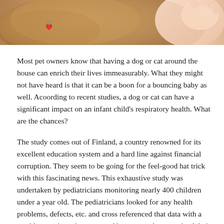[Figure (photo): Close-up photo of a dog with a red heart-shaped tag collar next to a baby's foot/hand, warm tan and beige tones]
Most pet owners know that having a dog or cat around the house can enrich their lives immeasurably. What they might not have heard is that it can be a boon for a bouncing baby as well. Acoording to recent studies, a dog or cat can have a significant impact on an infant child's respiratory health. What are the chances?
The study comes out of Finland, a country renowned for its excellent education system and a hard line against financial corruption. They seem to be going for the feel-good hat trick with this fascinating news. This exhaustive study was undertaken by pediatricians monitoring nearly 400 children under a year old. The pediatricians looked for any health problems, defects, etc. and cross referenced that data with a weekly questionnaire presented by parents that examined their infant's daily health and as many outlying factors as possible. Things such as siblings, daycare